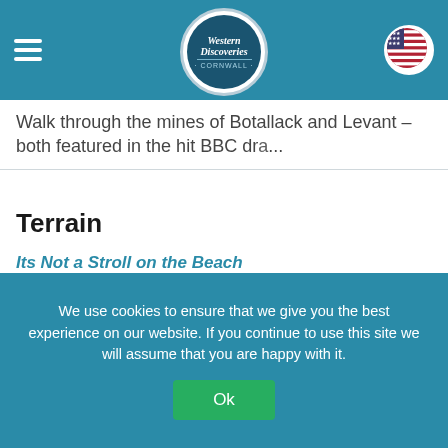Western Discoveries Cornwall - navigation header
Walk through the mines of Botallack and Levant – both featured in the hit BBC dra...
Terrain
Its Not a Stroll on the Beach
The coast path is much more demanding and time consuming than hill walking and a 10 mile (16 km) hike typically takes five hours.
The Path
We use cookies to ensure that we give you the best experience on our website. If you continue to use this site we will assume that you are happy with it.